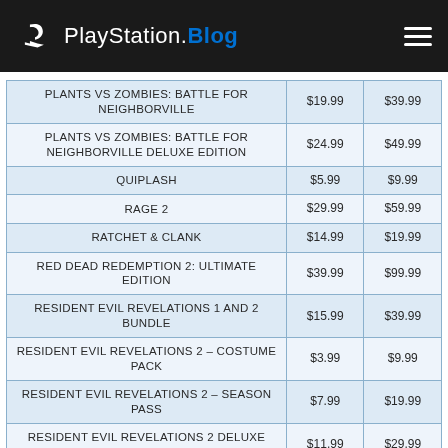PlayStation.Blog
| Game | Sale Price | Original Price |
| --- | --- | --- |
| PLANTS VS ZOMBIES: BATTLE FOR NEIGHBORVILLE | $19.99 | $39.99 |
| PLANTS VS ZOMBIES: BATTLE FOR NEIGHBORVILLE DELUXE EDITION | $24.99 | $49.99 |
| QUIPLASH | $5.99 | $9.99 |
| RAGE 2 | $29.99 | $59.99 |
| RATCHET & CLANK | $14.99 | $19.99 |
| RED DEAD REDEMPTION 2: ULTIMATE EDITION | $39.99 | $99.99 |
| RESIDENT EVIL REVELATIONS 1 AND 2 BUNDLE | $15.99 | $39.99 |
| RESIDENT EVIL REVELATIONS 2 – COSTUME PACK | $3.99 | $9.99 |
| RESIDENT EVIL REVELATIONS 2 – SEASON PASS | $7.99 | $19.99 |
| RESIDENT EVIL REVELATIONS 2 DELUXE EDITION | $11.99 | $29.99 |
| SID MEIER'S CIVILIZATION VI | $38.99 | $59.99 |